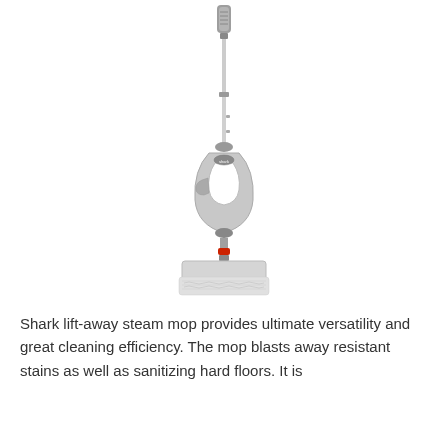[Figure (photo): A Shark lift-away steam mop shown upright against a white background. The mop has a long silver/grey telescoping pole with a handle grip at the top, a central body unit with a loop grip, trigger, and Shark logo badge, connected to a flat rectangular mop head base with a white textured cleaning pad.]
Shark lift-away steam mop provides ultimate versatility and great cleaning efficiency. The mop blasts away resistant stains as well as sanitizing hard floors. It is